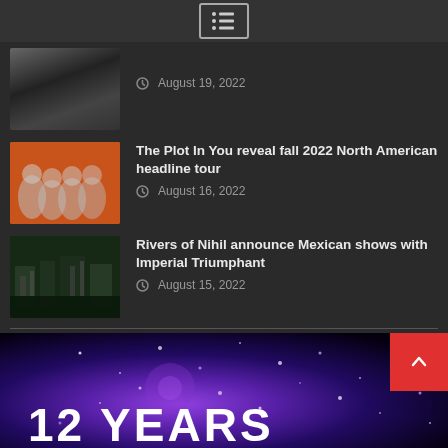Menu
August 19, 2022
The Plot In You reveal fall 2022 North American headline tour
August 16, 2022
Rivers of Nihil announce Mexican shows with Imperial Triumphant
August 15, 2022
[Figure (photo): Banner with purple/blue sparkle concert lights and text '12 YEARS']